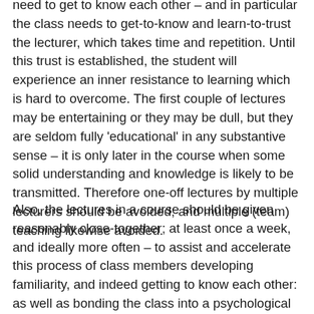need to get to know each other – and in particular the class needs to get-to-know and learn-to-trust the lecturer, which takes time and repetition. Until this trust is established, the student will experience an inner resistance to learning which is hard to overcome. The first couple of lectures may be entertaining or they may be dull, but they are seldom fully 'educational' in any substantive sense – it is only later in the course when some solid understanding and knowledge is likely to be transmitted. Therefore one-off lectures by multiple lecturers should be avoided; and multiple (team) teaching likewise avoided.
Also, the lectures in a course should be given reasonably close-together; at least once a week, and ideally more often – to assist and accelerate this process of class members developing familiarity, and indeed getting to know each other: as well as bonding the class into a psychological unit, so they develop a cohesive group personality.
Discovering the distinctive group personality of a class, and adjusting the teaching to its needs, is one of the things which keep lecturing fresh and enjoyable. Just like people, no two classes are exactly alike in personality – and some are quite